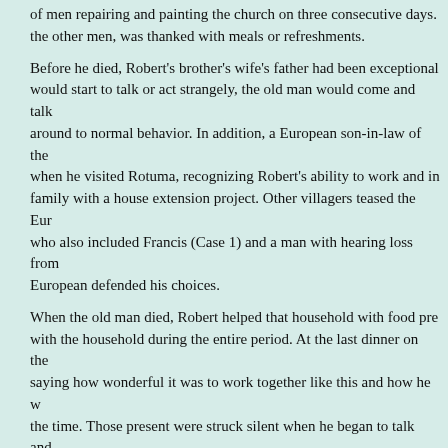of men repairing and painting the church on three consecutive days. the other men, was thanked with meals or refreshments.
Before he died, Robert's brother's wife's father had been exceptional would start to talk or act strangely, the old man would come and talk around to normal behavior. In addition, a European son-in-law of the when he visited Rotuma, recognizing Robert's ability to work and in family with a house extension project. Other villagers teased the Eur who also included Francis (Case 1) and a man with hearing loss from European defended his choices.
When the old man died, Robert helped that household with food pre with the household during the entire period. At the last dinner on the saying how wonderful it was to work together like this and how he w the time. Those present were struck silent when he began to talk and he finished. Although other adults frequently give speeches of appre we have never heard Robert speak out in public before or since.
Intensity of Interactions. Robert had no interactions with seven hous with eight households), and nineteen interactions with one household Robert had the most intensive interactions was that of his brother's w
Comparison of Interaction Pattern
Intensity of Interactions with Other Households